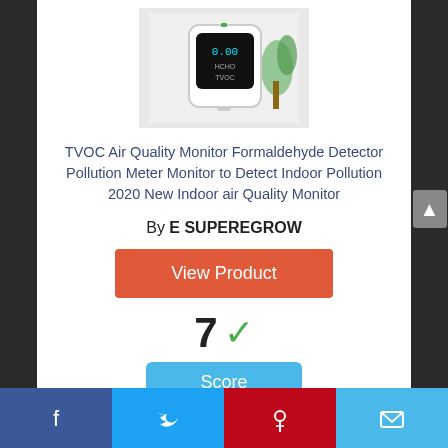[Figure (photo): Product photo of TVOC air quality monitor device with black screen display, white casing, placed next to a green plant on white background]
TVOC Air Quality Monitor Formaldehyde Detector Pollution Meter Monitor to Detect Indoor Pollution 2020 New Indoor air Quality Monitor
By E SUPEREGROW
View Product
7 ✓
Score
Facebook | Twitter | Pinterest | Email